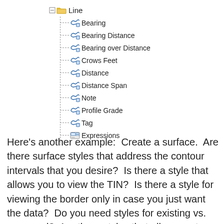[Figure (other): Tree view hierarchy showing 'Line' node expanded with children: Bearing, Bearing Distance, Bearing over Distance, Crows Feet, Distance, Distance Span, Note, Profile Grade, Tag, Expressions]
Here's another example:  Create a surface.  Are there surface styles that address the contour intervals that you desire?  Is there a style that allows you to view the TIN?  Is there a style for viewing the border only in case you just want the data?  Do you need styles for existing vs. proposed?  Are there styles that allow you to label the contours?  Major and minor?  Can you label slopes and spot elevations?  Do subcomponent and insertion layers